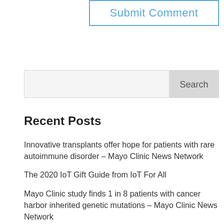[Figure (screenshot): Submit Comment button with blue border and blue text]
[Figure (screenshot): Search input field with Search button on the right]
Recent Posts
Innovative transplants offer hope for patients with rare autoimmune disorder – Mayo Clinic News Network
The 2020 IoT Gift Guide from IoT For All
Mayo Clinic study finds 1 in 8 patients with cancer harbor inherited genetic mutations – Mayo Clinic News Network
A Look Inside the New DICE | 2020-11-05
What do you know about epilepsy? – Mayo Clinic News